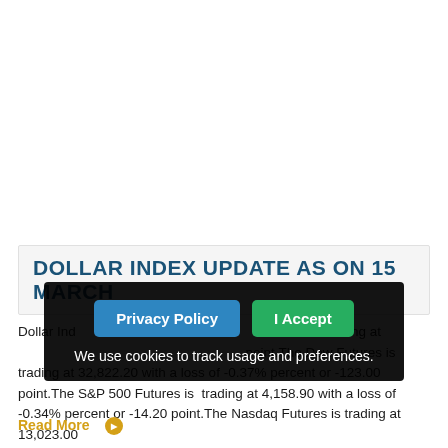DOLLAR INDEX UPDATE AS ON 15 MARCH
Dollar Index also known as DXY or USDX index is trading at 98.72 with a loss of -0.13% percent or -0.13 point.The Dow Futures is trading at 32,822.20 with a loss of -0.37% percent or -123.00 point.The S&P 500 Futures is trading at 4,158.90 with a loss of -0.34% percent or -14.20 point.The Nasdaq Futures is trading at 13,023.00
Read More ◉